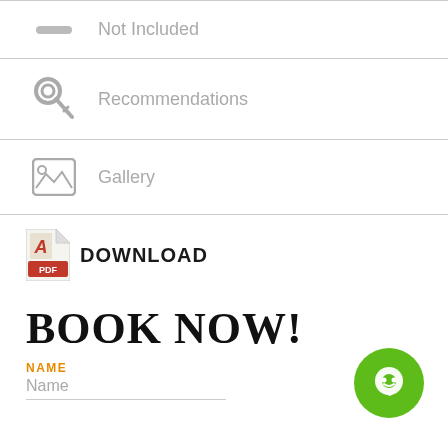Not Included
Recommendations
Gallery
DOWNLOAD
BOOK NOW!
NAME
Name